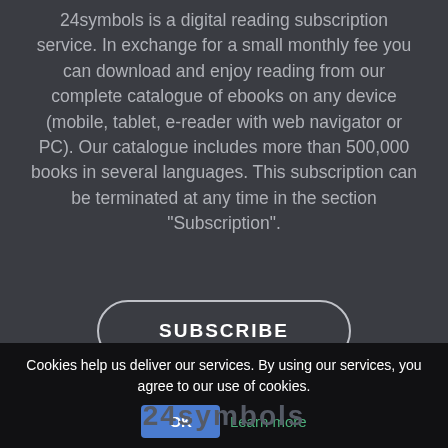24symbols is a digital reading subscription service. In exchange for a small monthly fee you can download and enjoy reading from our complete catalogue of ebooks on any device (mobile, tablet, e-reader with web navigator or PC). Our catalogue includes more than 500,000 books in several languages. This subscription can be terminated at any time in the section "Subscription".
[Figure (other): SUBSCRIBE button with rounded rectangle border]
[Figure (other): Row of social media icons: Facebook, Twitter, Pinterest, YouTube, Instagram]
Cookies help us deliver our services. By using our services, you agree to our use of cookies.
[Figure (other): OK button and Learn more link in cookie consent bar]
24symbols